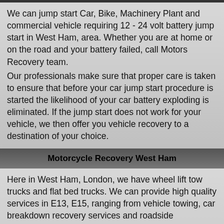We can jump start Car, Bike, Machinery Plant and commercial vehicle requiring 12 - 24 volt battery jump start in West Ham, area. Whether you are at home or on the road and your battery failed, call Motors Recovery team.
Our professionals make sure that proper care is taken to ensure that before your car jump start procedure is started the likelihood of your car battery exploding is eliminated. If the jump start does not work for your vehicle, we then offer you vehicle recovery to a destination of your choice.
Motorcycle Recovery West Ham
Here in West Ham, London, we have wheel lift tow trucks and flat bed trucks. We can provide high quality services in E13, E15, ranging from vehicle towing, car breakdown recovery services and roadside assistance in West Ham. We are fully insured, certified and bonded. We offer an accident, breakdown, recovery service from a simple battery jump start or wheel changing service or full total